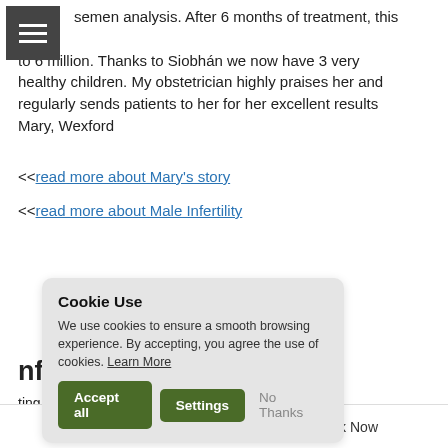semen analysis. After 6 months of treatment, this went to 6 million. Thanks to Siobhán we now have 3 very healthy children. My obstetrician highly praises her and regularly sends patients to her for her excellent results Mary, Wexford
<<read more about Mary's story
<<read more about Male Infertility
nfertility
ting or staying pregnant. Fertility treatment can give couples a chance of having a baby to those who otherwise might not have
[Figure (screenshot): Cookie consent popup with title 'Cookie Use', description text, and buttons: Accept all, Settings, No Thanks]
Find Us    Book Now